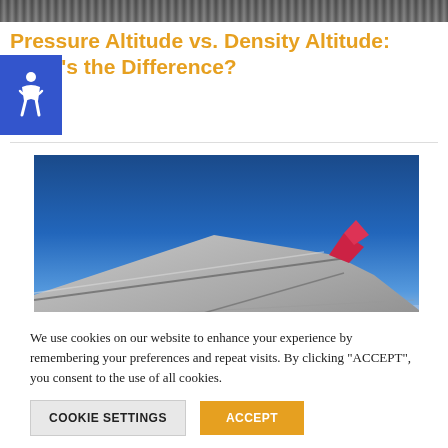[Figure (photo): Partial view of electronics/circuit board at top of page]
Pressure Altitude vs. Density Altitude: What's the Difference?
[Figure (photo): Airplane wing viewed from inside the plane against a blue sky with clouds below]
We use cookies on our website to enhance your experience by remembering your preferences and repeat visits. By clicking "ACCEPT", you consent to the use of all cookies.
COOKIE SETTINGS   ACCEPT